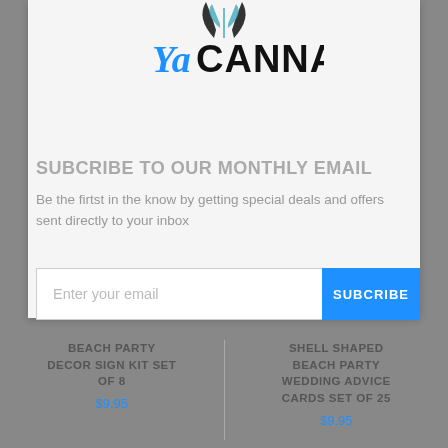[Figure (logo): YaCanna logo with blue stylized 'Ya' and black 'CANNA' text, with decorative leaf/plant graphic above]
SUBCRIBE TO OUR MONTHLY EMAIL
Be the firtst in the know by getting special deals and offers sent directly to your inbox
Enter your email | SUBCRIBE
BEACH PARTY DECOR SIGN KIT SET OF 8
$9.95
SHELL SHAPED BEACH PARTY WEDDING ADVICE CARDS SET OF 25
$9.95